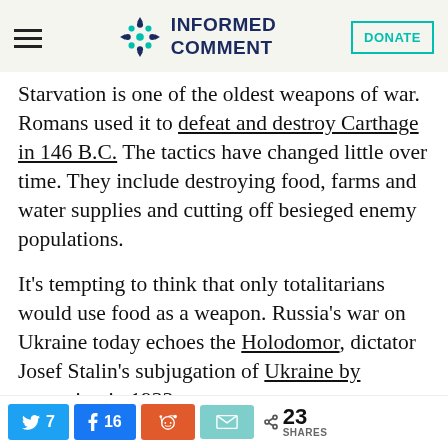Informed Comment
Starvation is one of the oldest weapons of war. Romans used it to defeat and destroy Carthage in 146 B.C. The tactics have changed little over time. They include destroying food, farms and water supplies and cutting off besieged enemy populations.
It's tempting to think that only totalitarians would use food as a weapon. Russia's war on Ukraine today echoes the Holodomor, dictator Josef Stalin's subjugation of Ukraine by starvation in 1933
7 Twitter shares, 16 Facebook shares, Reddit share, Email share, 23 total shares